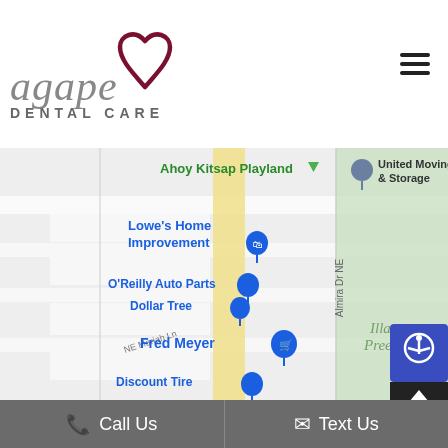[Figure (logo): Agape Dental Care logo with stylized cursive 'agape' text in gray, 'DENTAL CARE' in spaced uppercase below, and a dark red heart outline to the right]
[Figure (map): Google Maps screenshot showing area near Ahoy Kitsap Playland, Lowe's Home Improvement, O'Reilly Auto Parts, Dollar Tree, Fred Meyer, Discount Tire, and United Moving & Storage. A vertical road with yellow highlight runs through center. Almira Dr NE visible on right side. Green park area (Illa Pree) in lower right.]
Call Us    Text Us